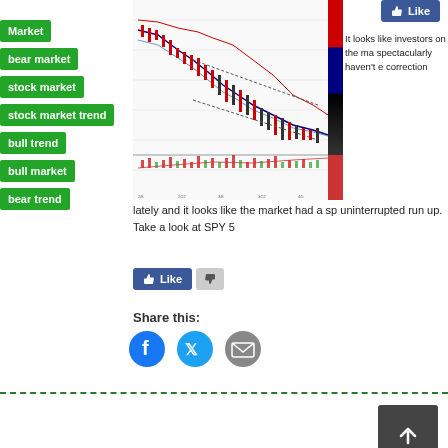Market
bear market
stock market
stock market trend
bull trend
bull market
bear trend
[Figure (continuous-plot): Stock market candlestick/line chart showing SPY price trend with moving averages and volume indicator below, colored price level indicator on the right side.]
It looks like investors on the market spectacularly haven't experienced corrections lately and it looks like the market had a spectacular uninterrupted run up. Take a look at SPY 5
Like
Share this:
Social share icons: Facebook, Twitter, Email